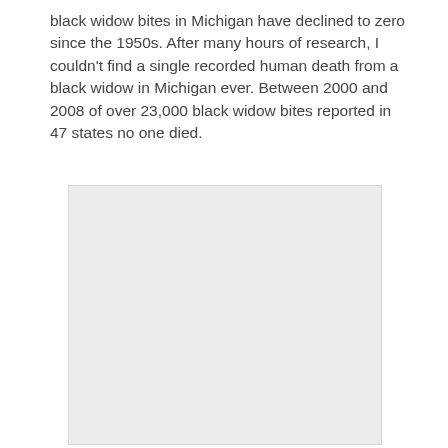black widow bites in Michigan have declined to zero since the 1950s. After many hours of research, I couldn't find a single recorded human death from a black widow in Michigan ever. Between 2000 and 2008 of over 23,000 black widow bites reported in 47 states no one died.
[Figure (other): A light gray rectangular placeholder image box with no visible content.]